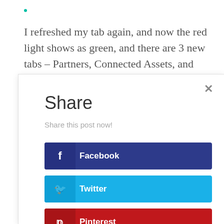I refreshed my tab again, and now the red light shows as green, and there are 3 new tabs – Partners, Connected Assets, and
[Figure (screenshot): A share dialog modal with buttons for Facebook, Twitter, Pinterest, and LinkedIn social networks. The modal has a title 'Share', subtitle 'Share this post now!', a close (×) button, and four colored social sharing buttons.]